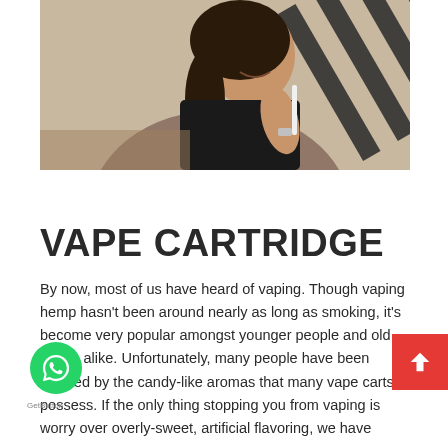[Figure (photo): A smiling young woman with long dark hair holding a vape pen/e-cigarette, wearing a black top and silver watch, seated against a striped black and white background.]
VAPE CARTRIDGE
By now, most of us have heard of vaping. Though vaping hemp hasn't been around nearly as long as smoking, it's become very popular amongst younger people and old hands alike. Unfortunately, many people have been swaded by the candy-like aromas that many vape carts possess. If the only thing stopping you from vaping is worry over overly-sweet, artificial flavoring, we have